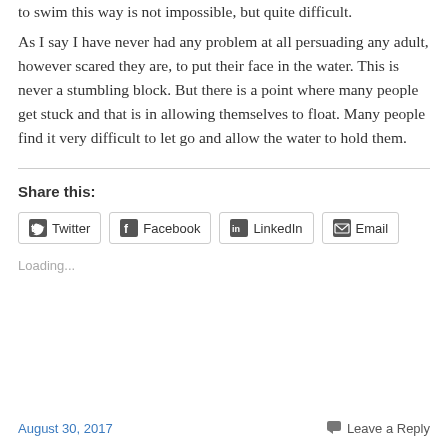to swim this way is not impossible, but quite difficult.
As I say I have never had any problem at all persuading any adult, however scared they are, to put their face in the water. This is never a stumbling block. But there is a point where many people get stuck and that is in allowing themselves to float. Many people find it very difficult to let go and allow the water to hold them.
Share this:
Twitter | Facebook | LinkedIn | Email
Loading...
August 30, 2017   Leave a Reply